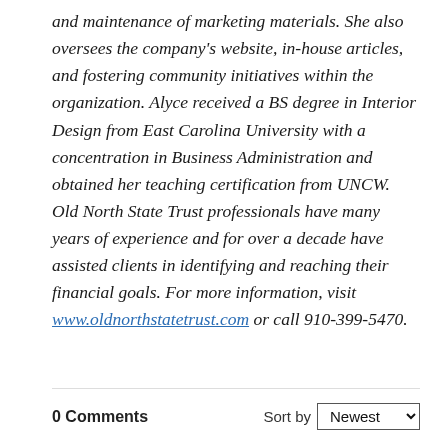and maintenance of marketing materials. She also oversees the company's website, in-house articles, and fostering community initiatives within the organization. Alyce received a BS degree in Interior Design from East Carolina University with a concentration in Business Administration and obtained her teaching certification from UNCW. Old North State Trust professionals have many years of experience and for over a decade have assisted clients in identifying and reaching their financial goals. For more information, visit www.oldnorthstatetrust.com or call 910-399-5470.
0 Comments   Sort by Newest